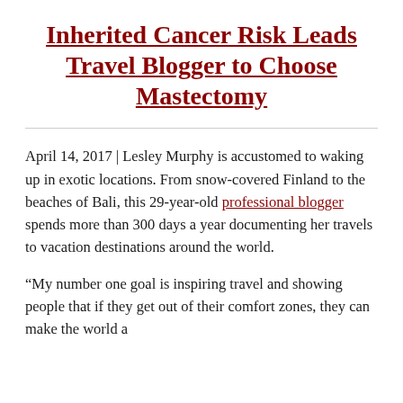Inherited Cancer Risk Leads Travel Blogger to Choose Mastectomy
April 14, 2017 | Lesley Murphy is accustomed to waking up in exotic locations. From snow-covered Finland to the beaches of Bali, this 29-year-old professional blogger spends more than 300 days a year documenting her travels to vacation destinations around the world.
“My number one goal is inspiring travel and showing people that if they get out of their comfort zones, they can make the world a